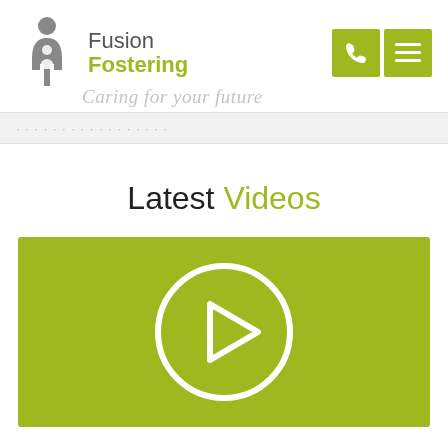[Figure (logo): Fusion Fostering logo with grey silhouette figures and olive/lime green text]
Caring for your future
navigation bar with partially visible text
Latest Videos
[Figure (screenshot): Olive green video thumbnail with a white circular play button icon]